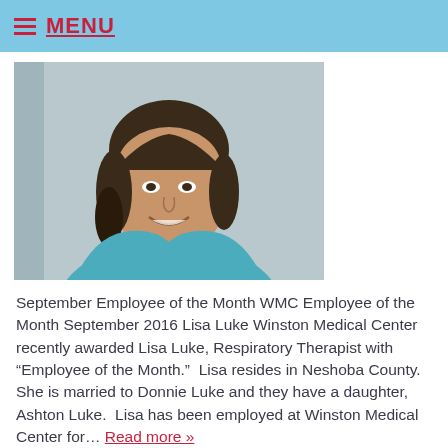MENU
[Figure (photo): Headshot of Lisa Luke, a woman with dark hair pulled back, wearing a teal top, smiling against a light grey background.]
September Employee of the Month WMC Employee of the Month September 2016 Lisa Luke Winston Medical Center recently awarded Lisa Luke, Respiratory Therapist with “Employee of the Month.”  Lisa resides in Neshoba County.  She is married to Donnie Luke and they have a daughter, Ashton Luke.  Lisa has been employed at Winston Medical Center for… Read more »
←  1  2  3